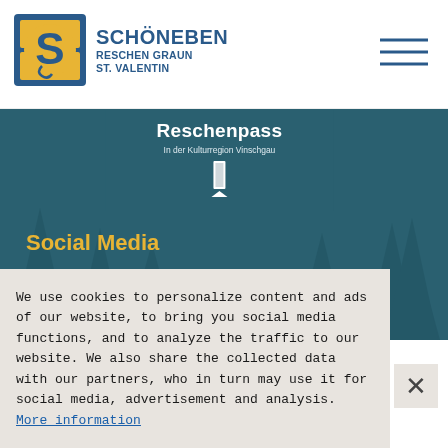[Figure (logo): Schöneben Reschen Graun St. Valentin logo — gold/blue S icon with blue text]
[Figure (screenshot): Reschenpass banner in teal, text: Reschenpass / In der Kulturregion Vinschgau, with silhouette icon]
[Figure (photo): Dark teal background with faint conifer tree silhouettes in the background]
Social Media
Follow Belpiano-Malga San Valentino on social media
[Figure (illustration): Three gold circular social media icons: Facebook (f), Instagram (camera), YouTube (play button)]
We use cookies to personalize content and ads of our website, to bring you social media functions, and to analyze the traffic to our website. We also share the collected data with our partners, who in turn may use it for social media, advertisement and analysis. More information